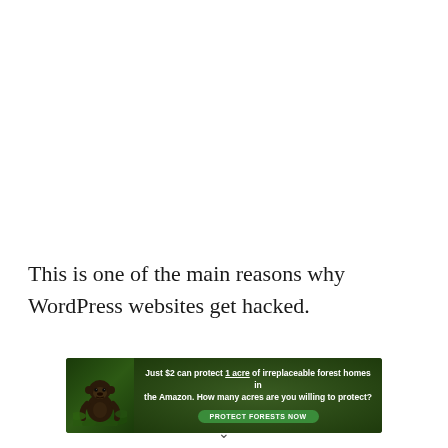This is one of the main reasons why WordPress websites get hacked.
[Figure (infographic): Advertisement banner with forest/Amazon theme. Shows a gorilla image on green forest background. Text reads: 'Just $2 can protect 1 acre of irreplaceable forest homes in the Amazon. How many acres are you willing to protect?' with a green 'PROTECT FORESTS NOW' button.]